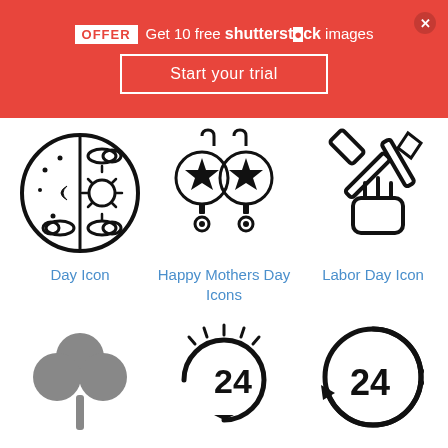[Figure (screenshot): Shutterstock promotional banner with red background showing OFFER badge, 'Get 10 free shutterstock images' text, close button, and 'Start your trial' button]
[Figure (illustration): Day Icon - circle divided into night (moon, stars) and day (sun, clouds) halves, black outline icon]
Day Icon
[Figure (illustration): Happy Mothers Day Icons - two ornamental ball earrings with stars, black outline icon]
Happy Mothers Day Icons
[Figure (illustration): Labor Day Icon - hand holding tools (hammer/wrench), black outline icon]
Labor Day Icon
[Figure (illustration): Shamrock/clover icon in gray]
[Figure (illustration): 24-hour circular arrow icon with radial dashes, black]
[Figure (illustration): 24-hour circular arrow icon outline style, black]